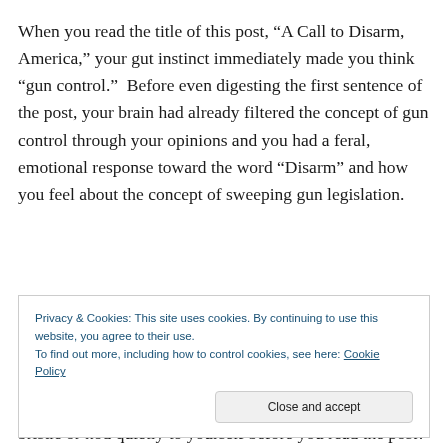When you read the title of this post, “A Call to Disarm, America,” your gut instinct immediately made you think “gun control.”  Before even digesting the first sentence of the post, your brain had already filtered the concept of gun control through your opinions and you had a feral, emotional response toward the word “Disarm” and how you feel about the concept of sweeping gun legislation.
Privacy & Cookies: This site uses cookies. By continuing to use this website, you agree to their use.
To find out more, including how to control cookies, see here: Cookie Policy
bristle or nod quietly to yourself before you read the post?